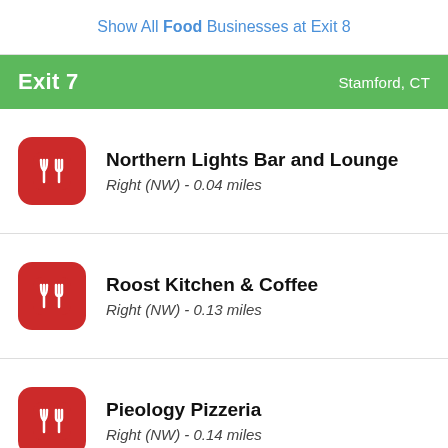Show All Food Businesses at Exit 8
Exit 7  Stamford, CT
Northern Lights Bar and Lounge
Right (NW) - 0.04 miles
Roost Kitchen & Coffee
Right (NW) - 0.13 miles
Pieology Pizzeria
Right (NW) - 0.14 miles
Plan B Burger Bar
Right (W) - 0.18 miles